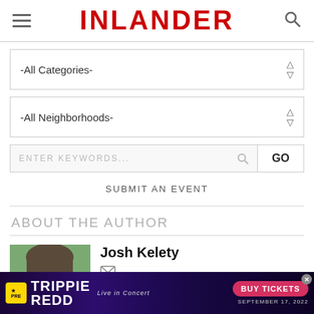INLANDER
-All Categories-
-All Neighborhoods-
ENTER KEYWORDS... GO
SUBMIT AN EVENT
ABOUT THE AUTHOR
[Figure (photo): Headshot photo of Josh Kelety, a man with glasses outdoors]
Josh Kelety
As a staff writer, Josh covers criminal justice issues and Spokane County government. Previously he
[Figure (infographic): Advertisement banner for Trippie Redd Live in Concert, September 17, 2022, with Buy Tickets button]